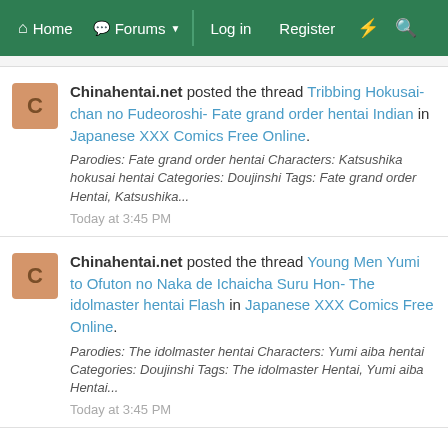Home  Forums  Log in  Register
Chinahentai.net posted the thread Tribbing Hokusai-chan no Fudeoroshi- Fate grand order hentai Indian in Japanese XXX Comics Free Online. Parodies: Fate grand order hentai Characters: Katsushika hokusai hentai Categories: Doujinshi Tags: Fate grand order Hentai, Katsushika... Today at 3:45 PM
Chinahentai.net posted the thread Young Men Yumi to Ofuton no Naka de Ichaicha Suru Hon- The idolmaster hentai Flash in Japanese XXX Comics Free Online. Parodies: The idolmaster hentai Characters: Yumi aiba hentai Categories: Doujinshi Tags: The idolmaster Hentai, Yumi aiba Hentai... Today at 3:45 PM